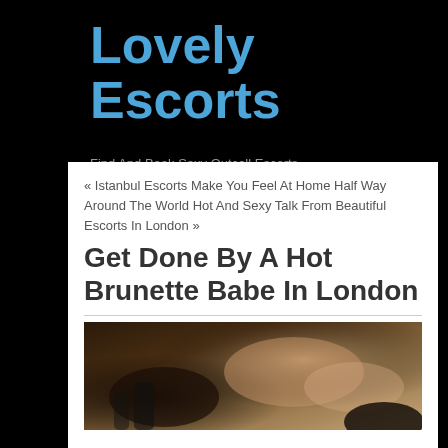Lovely Escorts
Find And Book Sexy Outcall Escorts
« Istanbul Escorts Make You Feel At Home Half Way Around The World Hot And Sexy Talk From Beautiful Escorts In London »
Get Done By A Hot Brunette Babe In London
[Figure (photo): Photo of a woman in lingerie lying on a bed]